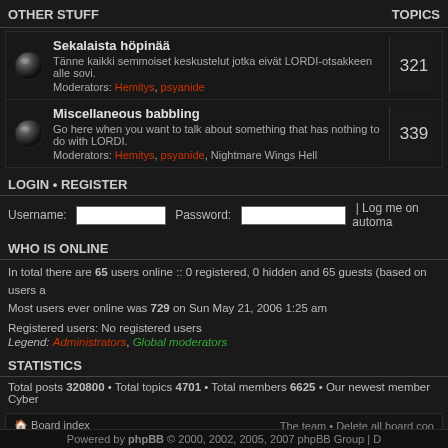OTHER STUFF    TOPICS
| Forum | Topics |
| --- | --- |
| Sekalaista höpinää
Tänne kaikki semmoiset keskustelut jotka eivät LORDI-otsakkeen alle sovi.
Moderators: Hemitys, psyanide | 321 |
| Miscellaneous babbling
Go here when you want to talk about something that has nothing to do with LORDI.
Moderators: Hemitys, psyanide, Nightmare Wings Hell | 339 |
LOGIN • REGISTER
Username:    Password:    | Log me on automa
WHO IS ONLINE
In total there are 65 users online :: 0 registered, 0 hidden and 65 guests (based on users a
Most users ever online was 729 on Sun May 21, 2006 1:25 am
Registered users: No registered users
Legend: Administrators, Global moderators
STATISTICS
Total posts 320800 • Total topics 4701 • Total members 6625 • Our newest member Cyber
Board index    The team • Delete all board coo
Powered by phpBB © 2000, 2002, 2005, 2007 phpBB Group | D